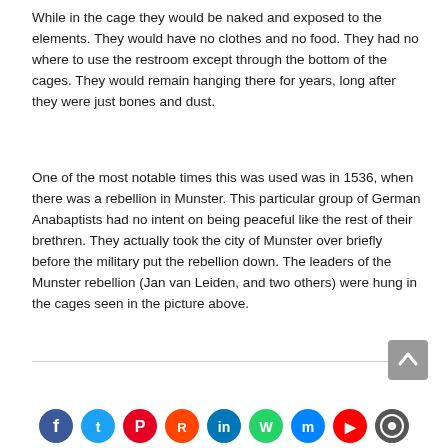While in the cage they would be naked and exposed to the elements. They would have no clothes and no food. They had no where to use the restroom except through the bottom of the cages. They would remain hanging there for years, long after they were just bones and dust.
One of the most notable times this was used was in 1536, when there was a rebellion in Munster. This particular group of German Anabaptists had no intent on being peaceful like the rest of their brethren. They actually took the city of Munster over briefly before the military put the rebellion down. The leaders of the Munster rebellion (Jan van Leiden, and two others) were hung in the cages seen in the picture above.
[Figure (other): Scroll-to-top button (grey rectangle with upward chevron arrow) and social media sharing icons bar at the bottom of the page (Facebook, Twitter, Pinterest, Reddit, LinkedIn, WhatsApp, Messenger, YouTube, and another icon)]